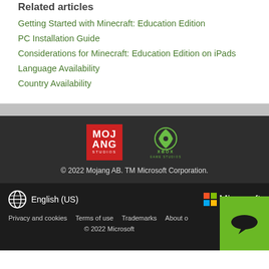Related articles
Getting Started with Minecraft: Education Edition
PC Installation Guide
Considerations for Minecraft: Education Edition on iPads
Language Availability
Country Availability
[Figure (logo): Mojang Studios red square logo]
[Figure (logo): Xbox Game Studios logo in green]
© 2022 Mojang AB. TM Microsoft Corporation.
English (US)  Microsoft  Privacy and cookies  Terms of use  Trademarks  About o...  © 2022 Microsoft